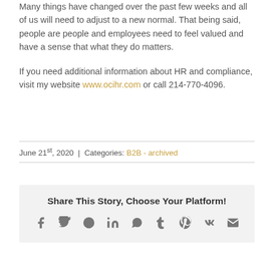Many things have changed over the past few weeks and all of us will need to adjust to a new normal. That being said, people are people and employees need to feel valued and have a sense that what they do matters.
If you need additional information about HR and compliance, visit my website www.ocihr.com or call 214-770-4096.
June 21st, 2020  |  Categories: B2B - archived
Share This Story, Choose Your Platform!